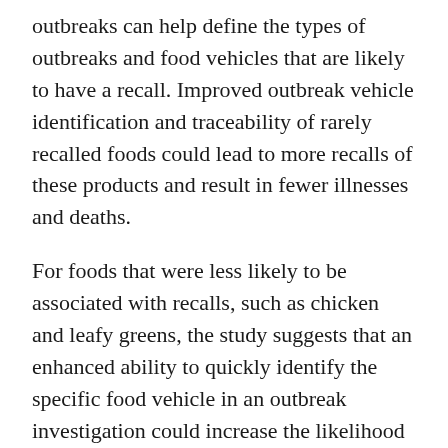outbreaks can help define the types of outbreaks and food vehicles that are likely to have a recall. Improved outbreak vehicle identification and traceability of rarely recalled foods could lead to more recalls of these products and result in fewer illnesses and deaths.
For foods that were less likely to be associated with recalls, such as chicken and leafy greens, the study suggests that an enhanced ability to quickly identify the specific food vehicle in an outbreak investigation could increase the likelihood of a recall.
The study states that “Enhanced food traceability may also speed outbreak investigations and lead to more outbreak-associated recalls. The timing of recalls may affect their impact on illness or from contamination...